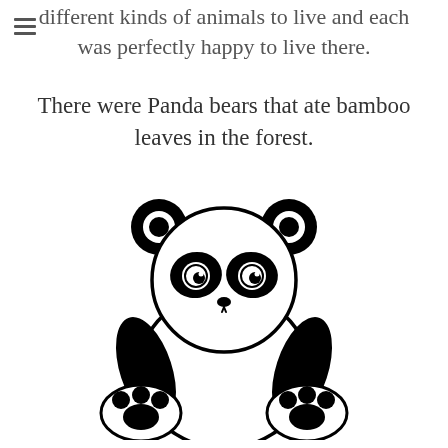different kinds of animals to live and each was perfectly happy to live there.
There were Panda bears that ate bamboo leaves in the forest.
[Figure (illustration): Cute cartoon panda bear sitting upright, black and white, with round ears, large black eye patches with white irises, small black nose, white body, black arms, and two large paws with black toe pads visible at the bottom.]